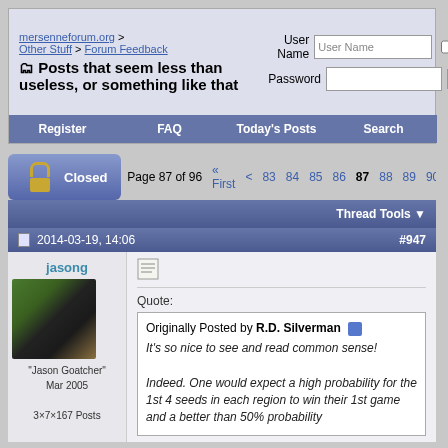mersenneforum.org > Other Stuff > Forum Feedback | Posts that seem less than useless, or something like that
User Name | Password | Remember Me? | Log in
Register | FAQ | Today's Posts | Search
Closed | Page 87 of 96 « First < 83 84 85 86 87 88 89 90 91
Thread Tools
2014-03-19, 14:06 #947
jasong
"Jason Goatcher" Mar 2005
3×7×167 Posts
Quote:
Originally Posted by R.D. Silverman
It's so nice to see and read common sense!

Indeed. One would expect a high probability for the 1st 4 seeds in each region to win their 1st game and a better than 50% probability